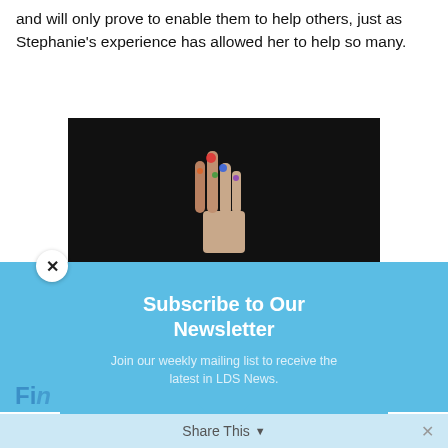and will only prove to enable them to help others, just as Stephanie’s experience has allowed her to help so many.
[Figure (photo): A hand with colorful painted fingers raised against a dark background]
If yo… her tena… is He… ’aven ay Joy.”
[Figure (screenshot): Newsletter subscription modal popup with blue background, title 'Subscribe to Our Newsletter', subtitle 'Join our weekly mailing list to receive the latest in LDS News.', email input field, and subscribe button]
Share This ⌄ ×